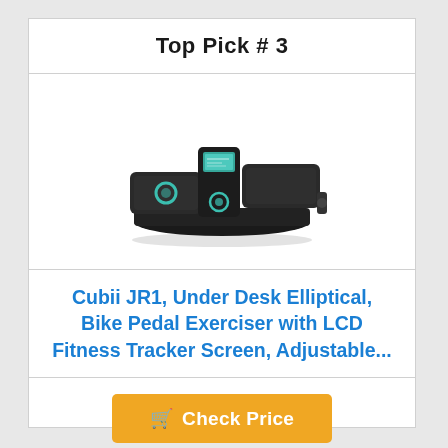Top Pick # 3
[Figure (photo): Cubii JR1 under desk elliptical pedal exerciser - black device with teal accents and two foot pedals]
Cubii JR1, Under Desk Elliptical, Bike Pedal Exerciser with LCD Fitness Tracker Screen, Adjustable...
Check Price